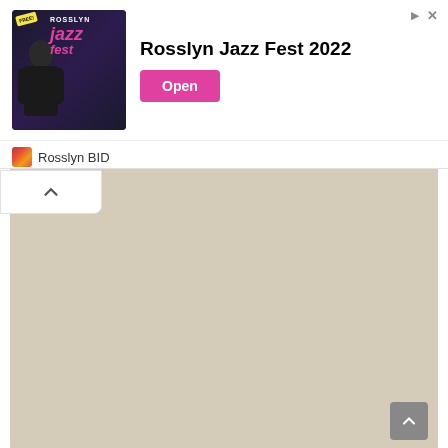[Figure (screenshot): Advertisement banner for Rosslyn Jazz Fest 2022 with dark background image of performer, Rosslyn Jazz Fest logo, bold title text, pink Open button, and Rosslyn BID sponsor line]
[Figure (photo): Portrait photo of a young woman with long brown hair wearing a dusty rose/blush long-sleeve top, gold necklaces, leaning against a teal-green floral wallpaper background, looking to the side with eyes partially closed]